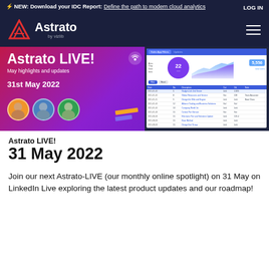⚡ NEW: Download your IDC Report: Define the path to modern cloud analytics   LOG IN
[Figure (logo): Astrato by vizlib logo with navigation hamburger menu on dark navy background]
[Figure (screenshot): Astrato LIVE! banner showing May highlights and updates, 31st May 2022, with three speaker avatars and a dashboard screenshot showing KPI metrics 22 and 5,556]
Astrato LIVE!
31 May 2022
Join our next Astrato-LIVE (our monthly online spotlight) on 31 May on LinkedIn Live exploring the latest product updates and our roadmap!